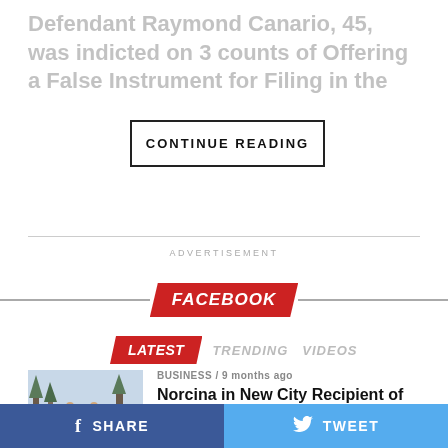Defendant Raymond Canario, 45, was indicted on 3 counts of Offering a False Instrument for Filing in the
CONTINUE READING
ADVERTISEMENT
[Figure (infographic): FACEBOOK banner with red parallelogram badge and horizontal lines on either side]
LATEST   TRENDING   VIDEOS
[Figure (photo): Group of people in green uniforms standing outside in winter holding boxes]
BUSINESS / 9 months ago
Norcina in New City Recipient of NYS Empire Award
EVENTS / 9 months ago
SHARE
TWEET